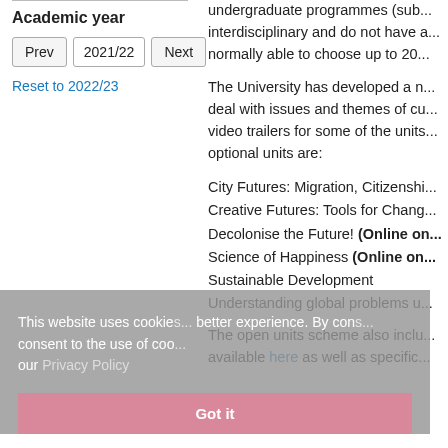Academic year
Prev  2021/22  Next
Reset to 2022/23
undergraduate programmes (sub... interdisciplinary and do not have a... normally able to choose up to 20...
The University has developed a n... deal with issues and themes of cu... video trailers for some of the units... optional units are:
City Futures: Migration, Citizenshi...
Creative Futures: Tools for Chang...
Decolonise the Future! (Online on...
Science of Happiness (Online on...
Sustainable Development
Understanding global problems u...
The open units scheme also inclu... available here as well as specific...
This website uses cookies... better experience. By con... consent to the use of coo... our Privacy Policy
Got it